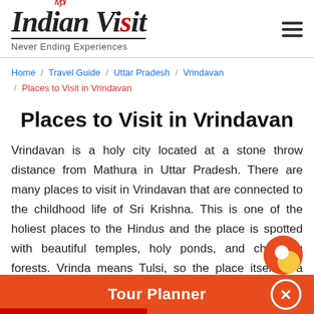Indian Visit — Never Ending Experiences
Home / Travel Guide / Uttar Pradesh / Vrindavan / Places to Visit in Vrindavan
Places to Visit in Vrindavan
Vrindavan is a holy city located at a stone throw distance from Mathura in Uttar Pradesh. There are many places to visit in Vrindavan that are connected to the childhood life of Sri Krishna. This is one of the holiest places to the Hindus and the place is spotted with beautiful temples, holy ponds, and charming forests. Vrinda means Tulsi, so the place itself is a forest of Tulsi. Brindavan also famous for festivals where Holi and Janma...
Tour Planner